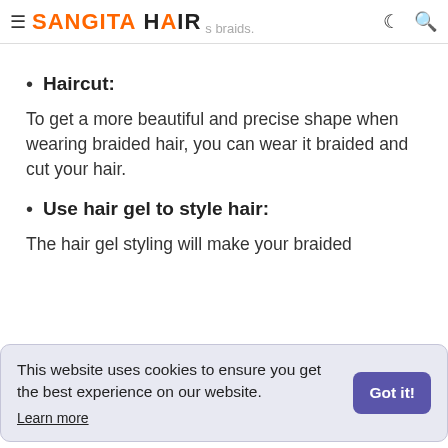≡ SANGITA HAIR … braids. ☾ 🔍
Haircut:
To get a more beautiful and precise shape when wearing braided hair, you can wear it braided and cut your hair.
Use hair gel to style hair:
The hair gel styling will make your braided
This website uses cookies to ensure you get the best experience on our website. Learn more  Got it!